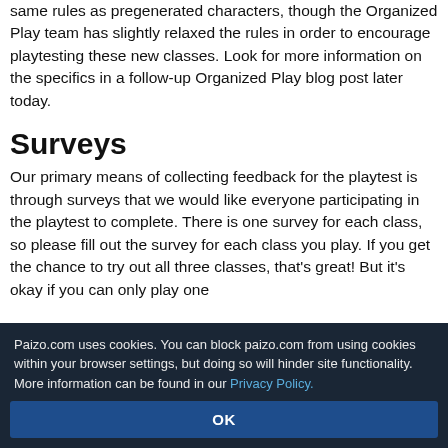same rules as pregenerated characters, though the Organized Play team has slightly relaxed the rules in order to encourage playtesting these new classes. Look for more information on the specifics in a follow-up Organized Play blog post later today.
Surveys
Our primary means of collecting feedback for the playtest is through surveys that we would like everyone participating in the playtest to complete. There is one survey for each class, so please fill out the survey for each class you play. If you get the chance to try out all three classes, that's great! But it's okay if you can only play one
Paizo.com uses cookies. You can block paizo.com from using cookies within your browser settings, but doing so will hinder site functionality. More information can be found in our Privacy Policy.
OK